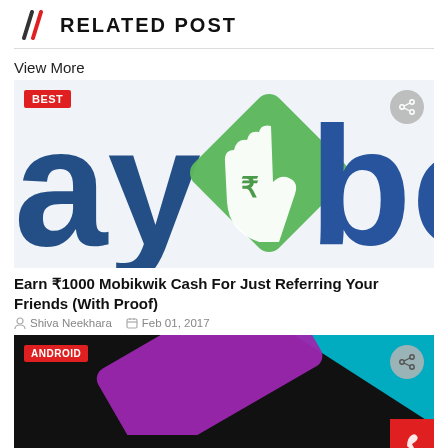RELATED POST
View More
[Figure (logo): Mobikwik logo - blue and green text logo with green diamond shape containing a hand with rupee symbol. BEST badge on top left, share icon top right.]
Earn ₹1000 Mobikwik Cash For Just Referring Your Friends (With Proof)
Shiva Neekhara   Feb 01, 2017
[Figure (screenshot): Dark background with colorful geometric shapes - purple diagonal shape, teal triangle, and black background. ANDROID badge on top left, share icon top right, red floating button bottom right.]